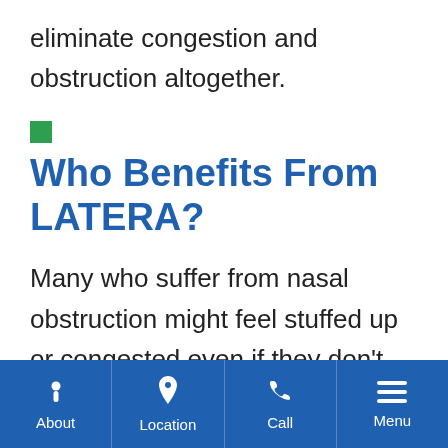eliminate congestion and obstruction altogether.
Who Benefits From LATERA?
Many who suffer from nasal obstruction might feel stuffed up or congested even if they don't have a cold, sinus infection or any other symptoms.
About | Location | Call | Menu